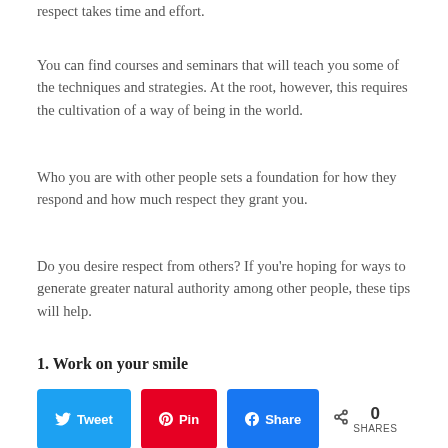respect takes time and effort.
You can find courses and seminars that will teach you some of the techniques and strategies. At the root, however, this requires the cultivation of a way of being in the world.
Who you are with other people sets a foundation for how they respond and how much respect they grant you.
Do you desire respect from others? If you’re hoping for ways to generate greater natural authority among other people, these tips will help.
1. Work on your smile
Your smile is one of the first things that commands respect. Generally speaking, a genuine, soft smile will inspire greater esteem than forced or fake smiles.
N Tweet  A Pin  k Share  < 0 SHARES